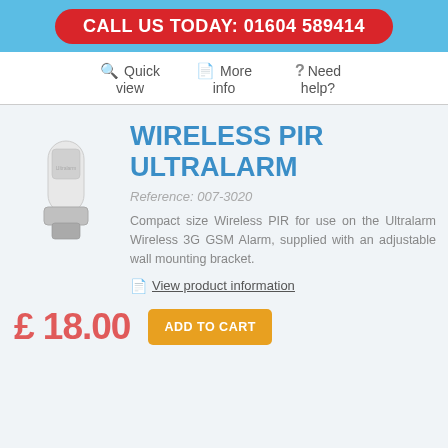CALL US TODAY: 01604 589414
Quick view   More info   Need help?
WIRELESS PIR ULTRALARM
Reference: 007-3020
Compact size Wireless PIR for use on the Ultralarm Wireless 3G GSM Alarm, supplied with an adjustable wall mounting bracket.
View product information
£ 18.00
ADD TO CART